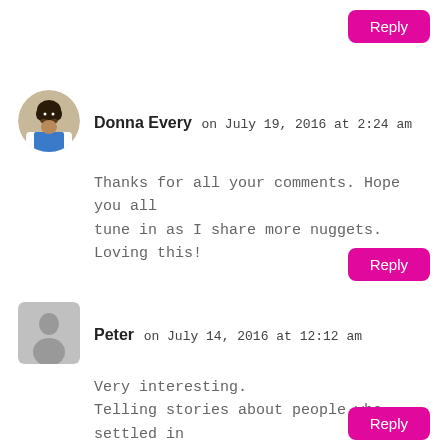[Figure (other): Reply button at top right]
[Figure (photo): Avatar photo of Donna Every, a woman in a white coat]
Donna Every on July 19, 2016 at 2:24 am
Thanks for all your comments. Hope you all tune in as I share more nuggets. Loving this!
[Figure (other): Reply button]
[Figure (other): Avatar placeholder for Peter, gray silhouette]
Peter on July 14, 2016 at 12:12 am
Very interesting.
Telling stories about people who settled in Barbados and why is compelling.
[Figure (other): Reply button]